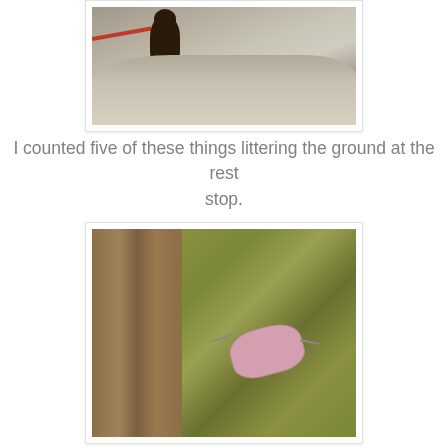[Figure (photo): Photo showing a dark brown bear or stuffed animal on rocky light-colored terrain, with a red rope or leash visible on the left side.]
I counted five of these things littering the ground at the rest stop.
[Figure (photo): Photo showing a worn wooden fence post with dry grass and hay on the ground beside it, and a pink disposable face mask lying discarded in the dried grass.]